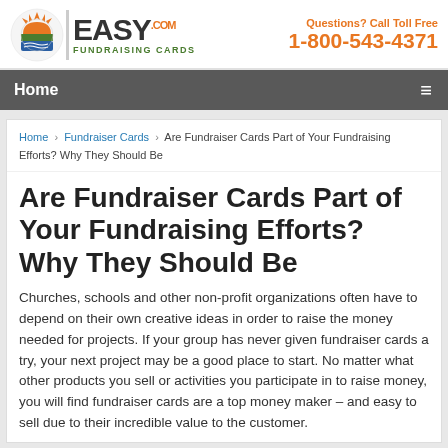EASY FUNDRAISING CARDS .COM | Questions? Call Toll Free 1-800-543-4371
Home
Home › Fundraiser Cards › Are Fundraiser Cards Part of Your Fundraising Efforts? Why They Should Be
Are Fundraiser Cards Part of Your Fundraising Efforts? Why They Should Be
Churches, schools and other non-profit organizations often have to depend on their own creative ideas in order to raise the money needed for projects. If your group has never given fundraiser cards a try, your next project may be a good place to start. No matter what other products you sell or activities you participate in to raise money, you will find fundraiser cards are a top money maker – and easy to sell due to their incredible value to the customer.